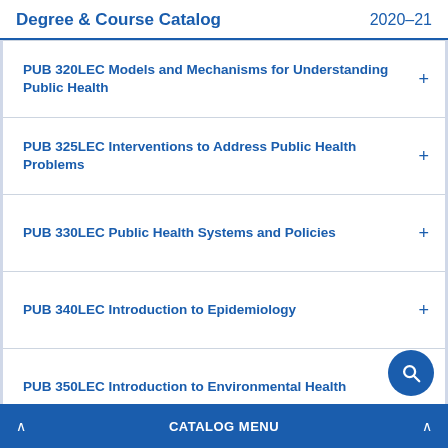Degree & Course Catalog 2020–21
PUB 320LEC Models and Mechanisms for Understanding Public Health
PUB 325LEC Interventions to Address Public Health Problems
PUB 330LEC Public Health Systems and Policies
PUB 340LEC Introduction to Epidemiology
PUB 350LEC Introduction to Environmental Health
PUB 400SEM Special Topics in Public Health
CATALOG MENU